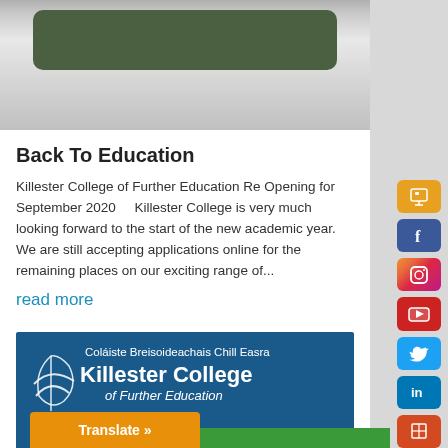[Figure (photo): Partial view of a chalkboard/blackboard mounted on a white brick wall]
Back To Education
Killester College of Further Education Re Opening for September 2020    Killester College is very much looking forward to the start of the new academic year. We are still accepting applications online for the remaining places on our exciting range of...
read more
[Figure (logo): Killester College of Further Education logo banner — blue background with text 'Coláiste Breisoideachais Chill Easra' and 'Killester College of Further Education' with college crest]
Translate »